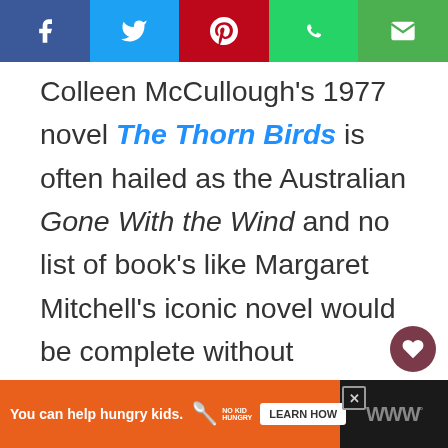[Figure (screenshot): Social share bar with Facebook (blue), Twitter (light blue), Pinterest (red), WhatsApp (green), Email (green) buttons]
Colleen McCullough's 1977 novel The Thorn Birds is often hailed as the Australian Gone With the Wind and no list of book's like Margaret Mitchell's iconic novel would be complete without including it.
[Figure (screenshot): Bottom advertisement bar: orange section with 'You can help hungry kids.' No Kid Hungry badge and 'LEARN HOW' button, dark right section with W logo]